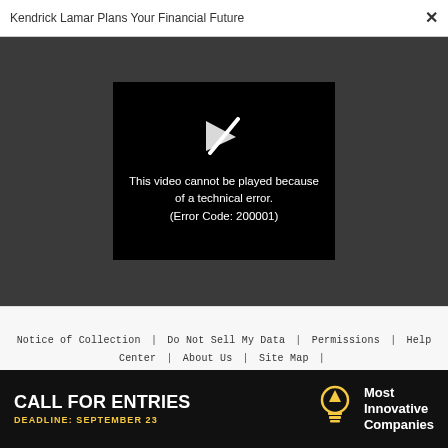Kendrick Lamar Plans Your Financial Future  ×
[Figure (screenshot): Black video player box showing a broken/slashed play icon and error message: 'This video cannot be played because of a technical error. (Error Code: 200001)']
Notice of Collection | Do Not Sell My Data | Permissions | Help Center | About Us | Site Map | Fast Company & Inc © 2022 Mansueto Ventures, LLC
[Figure (infographic): Black advertisement banner: 'CALL FOR ENTRIES DEADLINE: SEPTEMBER 23' with a light bulb icon and 'Most Innovative Companies' text on the right.]